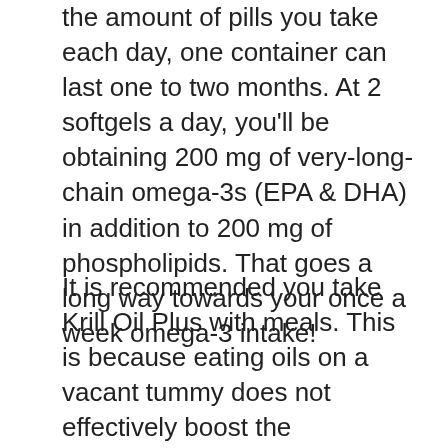the amount of pills you take each day, one container can last one to two months. At 2 softgels a day, you'll be obtaining 200 mg of very-long-chain omega-3s (EPA & DHA) in addition to 200 mg of phospholipids. That goes a long way towards your once a week omega-3 intake!
It is recommended you take Krill Oil Plus with meals. This is because eating oils on a vacant tummy does not effectively boost the production of the bile that is used to break down oils – bring about inefficient absorption. I.e. it would certainly be a waste. This item consists of crustacean shellfish with the krill. Along with the existence of fish, the softgel capsule is made from jelly (bovine) so it is not a vegetarian or a